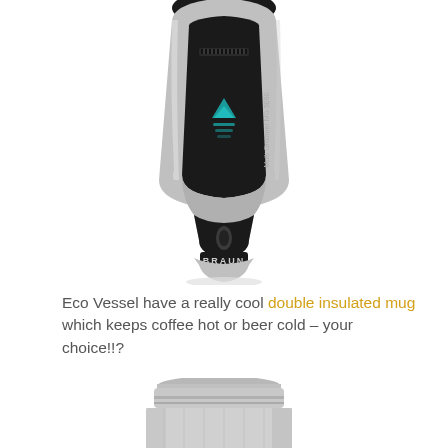[Figure (photo): Braun Multi Groomer MG 5090 electric shaver/trimmer, black and silver, shown from front view on white background]
Eco Vessel have a really cool double insulated mug which keeps coffee hot or beer cold – your choice!!?
[Figure (photo): Stainless steel double insulated mug by Eco Vessel, shown from front on white background, partially cut off at bottom of page]